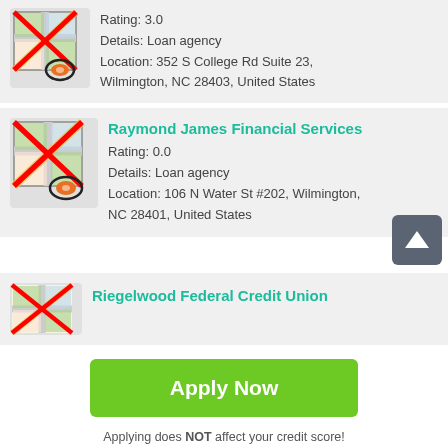[Figure (screenshot): Map icon with red X overlay and location pin icon, for first listing]
Rating: 3.0
Details: Loan agency
Location: 352 S College Rd Suite 23, Wilmington, NC 28403, United States
[Figure (screenshot): Map icon with red X overlay and location pin icon, for Raymond James Financial Services]
Raymond James Financial Services
Rating: 0.0
Details: Loan agency
Location: 106 N Water St #202, Wilmington, NC 28401, United States
[Figure (screenshot): Map icon with red X overlay for Riegelwood Federal Credit Union]
Riegelwood Federal Credit Union
Apply Now
Applying does NOT affect your credit score!
No credit check to apply.